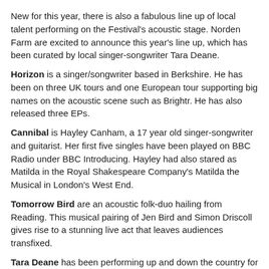New for this year, there is also a fabulous line up of local talent performing on the Festival's acoustic stage. Norden Farm are excited to announce this year's line up, which has been curated by local singer-songwriter Tara Deane.
Horizon is a singer/songwriter based in Berkshire. He has been on three UK tours and one European tour supporting big names on the acoustic scene such as Brightr. He has also released three EPs.
Cannibal is Hayley Canham, a 17 year old singer-songwriter and guitarist. Her first five singles have been played on BBC Radio under BBC Introducing. Hayley had also stared as Matilda in the Royal Shakespeare Company's Matilda the Musical in London's West End.
Tomorrow Bird are an acoustic folk-duo hailing from Reading. This musical pairing of Jen Bird and Simon Driscoll gives rise to a stunning live act that leaves audiences transfixed.
Tara Deane has been performing up and down the country for the past seven years. She regularly performs in London and has made appearances on the radio. Accompanied by her full acoustic band, you are sure to be entertained!